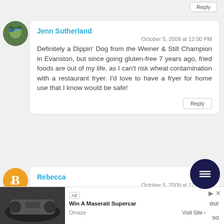[Figure (other): Reply button at top of page (partial, cropped)]
[Figure (photo): Avatar photo of Jenn Sutherland wearing a bike helmet]
Jenn Sutherland
October 5, 2009 at 12:00 PM
Definitely a Dippin' Dog from the Weiner & Still Champion in Evanston, but since going gluten-free 7 years ago, fried foods are out of my life, as I can't risk wheat contamination with a restaurant fryer. I'd love to have a fryer for home use that I know would be safe!
[Figure (other): Reply button]
[Figure (logo): Orange Blogger avatar logo for Rebecca]
Rebecca
October 5, 2009 at 12:07 PM
I heart funnel cakes
[Figure (other): Dark blue floating chat/menu icon button]
[Figure (other): Advertisement banner: Win A Maserati Supercar - Omaze - Visit Site]